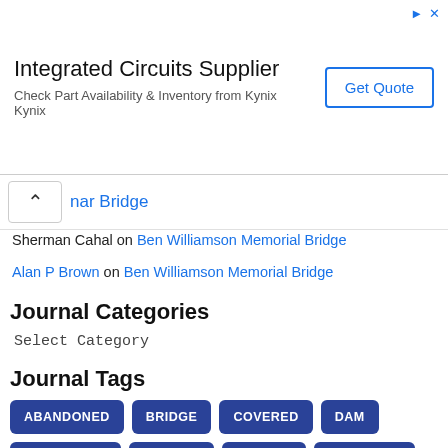[Figure (screenshot): Advertisement banner for Integrated Circuits Supplier - Kynix, with 'Get Quote' button]
nar Bridge
Sherman Cahal on Ben Williamson Memorial Bridge
Alan P Brown on Ben Williamson Memorial Bridge
Journal Categories
Select Category
Journal Tags
ABANDONED
BRIDGE
COVERED
DAM
DEMOLITION
ILLINOIS
INDIANA
KENTUCKY